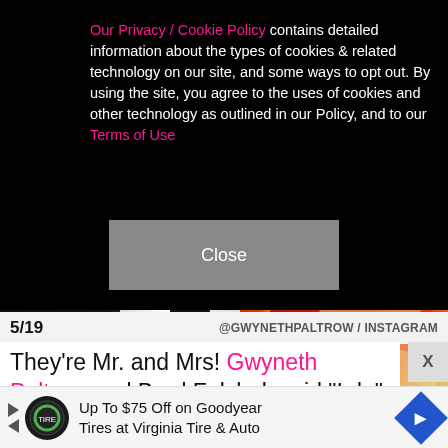Our Privacy / Cookie Policy contains detailed information about the types of cookies & related technology on our site, and some ways to opt out. By using the site, you agree to the uses of cookies and other technology as outlined in our Policy, and to our Terms of Use
Close
[Figure (photo): Close-up photo showing a dark suit jacket with white shirt and tie on the left, and blonde hair on a red-clothed figure on the right]
5/19   @GWYNETHPALTROW / INSTAGRAM
They're Mr. and Mrs! Gwyneth Paltrow and Brad Falchuk said "I do" on Sept. 29 at her home in the
Up To $75 Off on Goodyear Tires at Virginia Tire & Auto